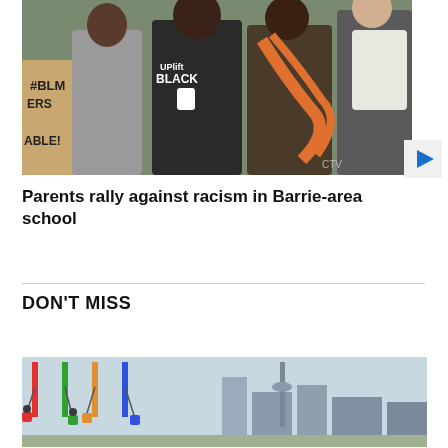[Figure (photo): Group of people at a protest/rally, one person wearing a shirt that says 'UPlift BLACK', another person holding a sign with '#BLM' and 'ABLE!' visible]
Parents rally against racism in Barrie-area school
DON'T MISS
[Figure (photo): Outdoor fair or amusement park with chair swing ride, CN Tower or similar tower visible in background against a city skyline]